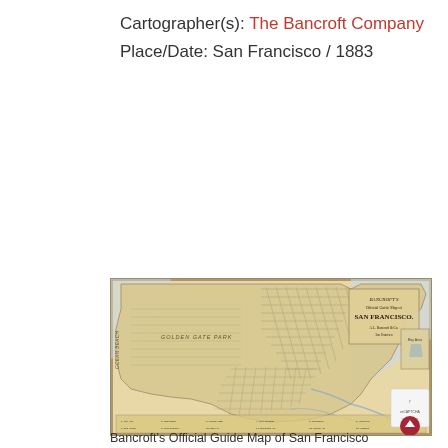Cartographer(s): The Bancroft Company
Place/Date: San Francisco / 1883
Read more
[Figure (map): Historical map of San Francisco, 1883, published by The Bancroft Company. Shows city street grid, Golden Gate Park, waterfront, and surrounding areas with legend/index at bottom.]
Bancroft's Official Guide Map of San Francisco